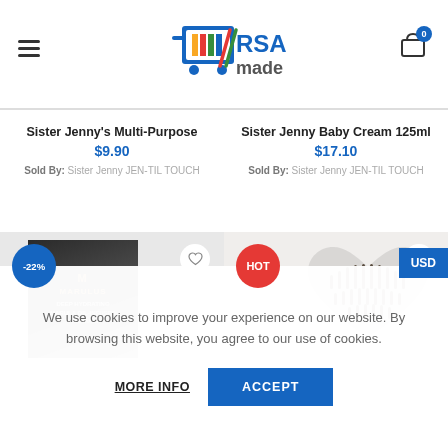RSA made — header with logo, hamburger menu, and cart icon (0 items)
Sister Jenny's Multi-Purpose
$9.90
Sold By: Sister Jenny JEN-TIL TOUCH
Sister Jenny Baby Cream 125ml
$17.10
Sold By: Sister Jenny JEN-TIL TOUCH
[Figure (photo): Product image card with -22% discount badge and heart icon, showing Marulus deep moisturizing Marula oil-infused face mask product packaging with model]
[Figure (photo): Product image card with HOT badge and heart icon, showing a hairbrush arranged in heart shape on light background]
USD
We use cookies to improve your experience on our website. By browsing this website, you agree to our use of cookies.
MORE INFO
ACCEPT